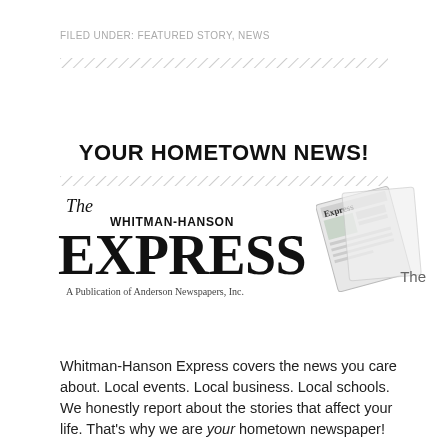FILED UNDER: FEATURED STORY, NEWS
YOUR HOMETOWN NEWS!
[Figure (logo): The Whitman-Hanson Express newspaper logo with masthead reading 'The WHITMAN-HANSON EXPRESS A Publication of Anderson Newspapers, Inc.' alongside an image of a folded newspaper, with the word 'The' to the right]
Whitman-Hanson Express covers the news you care about. Local events. Local business. Local schools. We honestly report about the stories that affect your life. That's why we are your hometown newspaper!